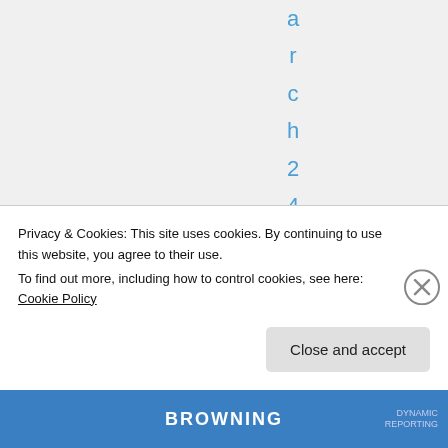arch 24, 2011 at
Privacy & Cookies: This site uses cookies. By continuing to use this website, you agree to their use.
To find out more, including how to control cookies, see here: Cookie Policy
Close and accept
BROWNING